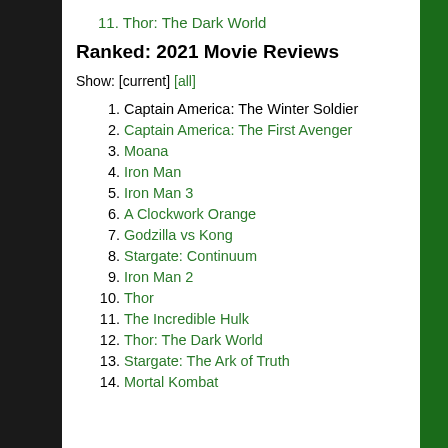11. Thor: The Dark World
Ranked: 2021 Movie Reviews
Show: [current] [all]
1. Captain America: The Winter Soldier
2. Captain America: The First Avenger
3. Moana
4. Iron Man
5. Iron Man 3
6. A Clockwork Orange
7. Godzilla vs Kong
8. Stargate: Continuum
9. Iron Man 2
10. Thor
11. The Incredible Hulk
12. Thor: The Dark World
13. Stargate: The Ark of Truth
14. Mortal Kombat